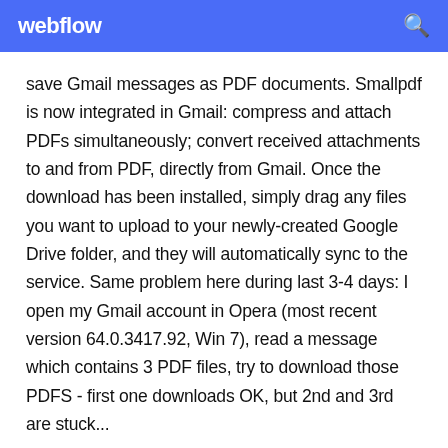webflow
save Gmail messages as PDF documents. Smallpdf is now integrated in Gmail: compress and attach PDFs simultaneously; convert received attachments to and from PDF, directly from Gmail. Once the download has been installed, simply drag any files you want to upload to your newly-created Google Drive folder, and they will automatically sync to the service. Same problem here during last 3-4 days: I open my Gmail account in Opera (most recent version 64.0.3417.92, Win 7), read a message which contains 3 PDF files, try to download those PDFS - first one downloads OK, but 2nd and 3rd are stuck...